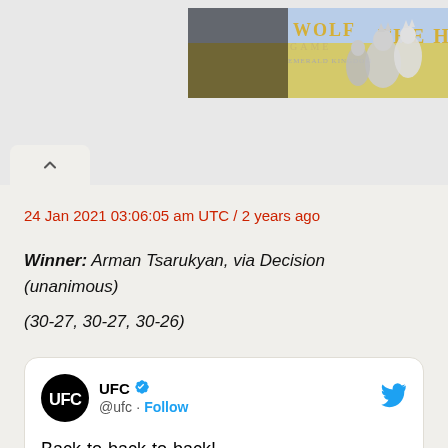[Figure (screenshot): Wolf Game banner advertisement showing wolves in a meadow with text 'WOLF GAME' and 'THE H']
24 Jan 2021 03:06:05 am UTC / 2 years ago
Winner: Arman Tsarukyan, via Decision (unanimous)
(30-27, 30-27, 30-26)
Back-to-back-to-back!
🇦🇲 Arman Tsarukyan is headed home
[Figure (screenshot): UFC Twitter post showing @ufc verified account with Follow button and tweet content]